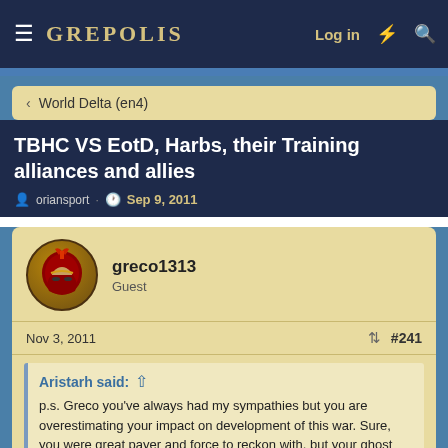GREPOLIS — Log in
World Delta (en4)
TBHC VS EotD, Harbs, their Training alliances and allies
oriansport · Sep 9, 2011
greco1313
Guest
Nov 3, 2011  #241
Aristarh said: ↑

p.s. Greco you've always had my sympathies but you are overestimating your impact on development of this war. Sure, you were great payer and force to reckon with, but your ghost account only made things to develop faster. Don't be fooled that you would change anything. We were aproaching you fast and